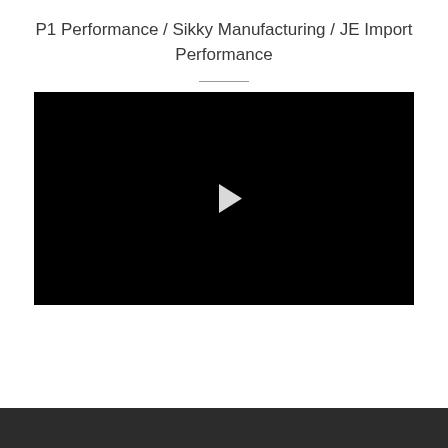P1 Performance / Sikky Manufacturing / JE Import Performance
[Figure (screenshot): Black video player thumbnail with a white play button triangle in the center]